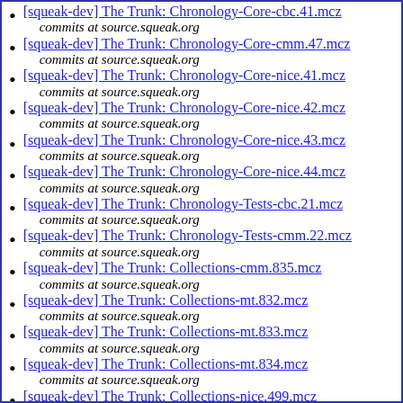[squeak-dev] The Trunk: Chronology-Core-cbc.41.mcz
   commits at source.squeak.org
[squeak-dev] The Trunk: Chronology-Core-cmm.47.mcz
   commits at source.squeak.org
[squeak-dev] The Trunk: Chronology-Core-nice.41.mcz
   commits at source.squeak.org
[squeak-dev] The Trunk: Chronology-Core-nice.42.mcz
   commits at source.squeak.org
[squeak-dev] The Trunk: Chronology-Core-nice.43.mcz
   commits at source.squeak.org
[squeak-dev] The Trunk: Chronology-Core-nice.44.mcz
   commits at source.squeak.org
[squeak-dev] The Trunk: Chronology-Tests-cbc.21.mcz
   commits at source.squeak.org
[squeak-dev] The Trunk: Chronology-Tests-cmm.22.mcz
   commits at source.squeak.org
[squeak-dev] The Trunk: Collections-cmm.835.mcz
   commits at source.squeak.org
[squeak-dev] The Trunk: Collections-mt.832.mcz
   commits at source.squeak.org
[squeak-dev] The Trunk: Collections-mt.833.mcz
   commits at source.squeak.org
[squeak-dev] The Trunk: Collections-mt.834.mcz
   commits at source.squeak.org
[squeak-dev] The Trunk: Collections-nice.499.mcz
   commits at source.squeak.org